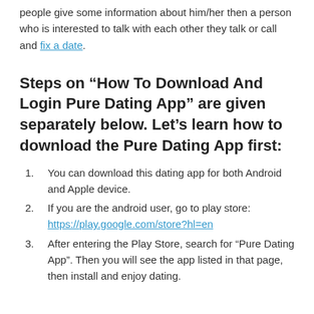people give some information about him/her then a person who is interested to talk with each other they talk or call and fix a date.
Steps on “How To Download And Login Pure Dating App” are given separately below. Let’s learn how to download the Pure Dating App first:
You can download this dating app for both Android and Apple device.
If you are the android user, go to play store: https://play.google.com/store?hl=en
After entering the Play Store, search for “Pure Dating App”. Then you will see the app listed in that page, then install and enjoy dating.